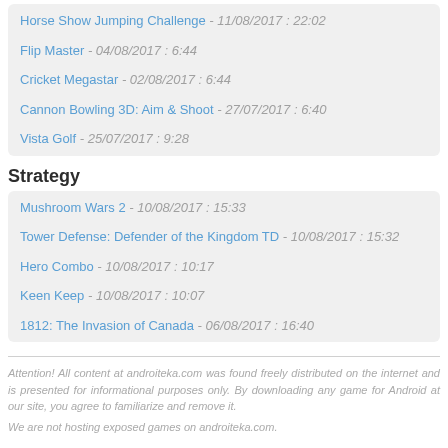Horse Show Jumping Challenge - 11/08/2017 : 22:02
Flip Master - 04/08/2017 : 6:44
Cricket Megastar - 02/08/2017 : 6:44
Cannon Bowling 3D: Aim & Shoot - 27/07/2017 : 6:40
Vista Golf - 25/07/2017 : 9:28
Strategy
Mushroom Wars 2 - 10/08/2017 : 15:33
Tower Defense: Defender of the Kingdom TD - 10/08/2017 : 15:32
Hero Combo - 10/08/2017 : 10:17
Keen Keep - 10/08/2017 : 10:07
1812: The Invasion of Canada - 06/08/2017 : 16:40
Attention! All content at androiteka.com was found freely distributed on the internet and is presented for informational purposes only. By downloading any game for Android at our site, you agree to familiarize and remove it.
We are not hosting exposed games on androiteka.com.